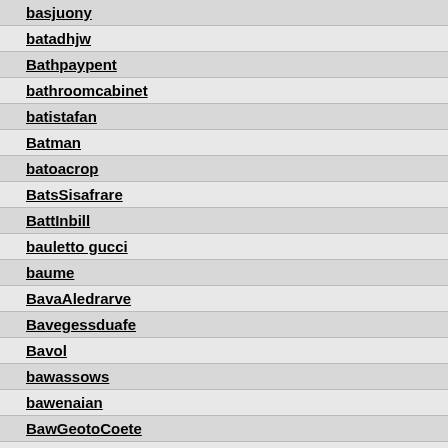basjuony
batadhjw
Bathpaypent
bathroomcabinet
batistafan
Batman
batoacrop
BatsSisafrare
BattInbill
bauletto gucci
baume
BavaAledrarve
Bavegessduafe
Bavol
bawassows
bawenaian
BawGeotoCoete
Bawintimi
Baxassoto